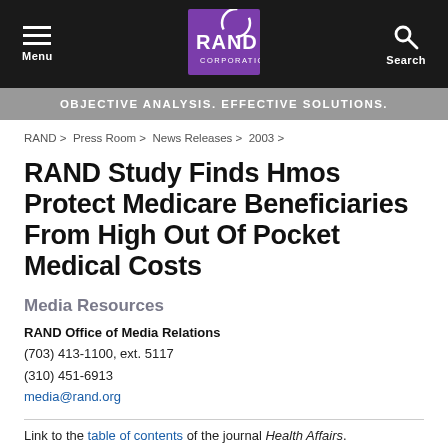Menu | RAND Corporation | Search
OBJECTIVE ANALYSIS. EFFECTIVE SOLUTIONS.
RAND > Press Room > News Releases > 2003 >
RAND Study Finds Hmos Protect Medicare Beneficiaries From High Out Of Pocket Medical Costs
Media Resources
RAND Office of Media Relations
(703) 413-1100, ext. 5117
(310) 451-6913
media@rand.org
Link to the table of contents of the journal Health Affairs.